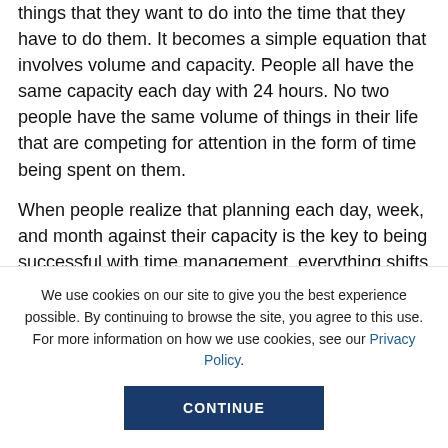things that they want to do into the time that they have to do them. It becomes a simple equation that involves volume and capacity. People all have the same capacity each day with 24 hours. No two people have the same volume of things in their life that are competing for attention in the form of time being spent on them.
When people realize that planning each day, week, and month against their capacity is the key to being successful with time management, everything shifts in their favor. The key it so plan each day, week or month
We use cookies on our site to give you the best experience possible. By continuing to browse the site, you agree to this use. For more information on how we use cookies, see our Privacy Policy.